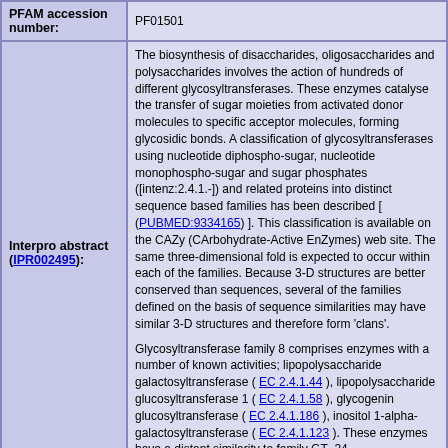| Field | Value |
| --- | --- |
| PFAM accession number: | PF01501 |
| Interpro abstract (IPR002495): | The biosynthesis of disaccharides, oligosaccharides and polysaccharides involves the action of hundreds of different glycosyltransferases. These enzymes catalyse the transfer of sugar moieties from activated donor molecules to specific acceptor molecules, forming glycosidic bonds. A classification of glycosyltransferases using nucleotide diphospho-sugar, nucleotide monophospho-sugar and sugar phosphates ([intenz:2.4.1.-]) and related proteins into distinct sequence based families has been described [ (PUBMED:9334165) ]. This classification is available on the CAZy (CArbohydrate-Active EnZymes) web site. The same three-dimensional fold is expected to occur within each of the families. Because 3-D structures are better conserved than sequences, several of the families defined on the basis of sequence similarities may have similar 3-D structures and therefore form 'clans'. Glycosyltransferase family 8 comprises enzymes with a number of known activities; lipopolysaccharide galactosyltransferase ( EC 2.4.1.44 ), lipopolysaccharide glucosyltransferase 1 ( EC 2.4.1.58 ), glycogenin glucosyltransferase ( EC 2.4.1.186 ), inositol 1-alpha-galactosyltransferase ( EC 2.4.1.123 ). These enzymes have a distant similarity to family GT_24. |
| GO function: | transferase activity, transferring glycosyl groups (GO:0016757) |